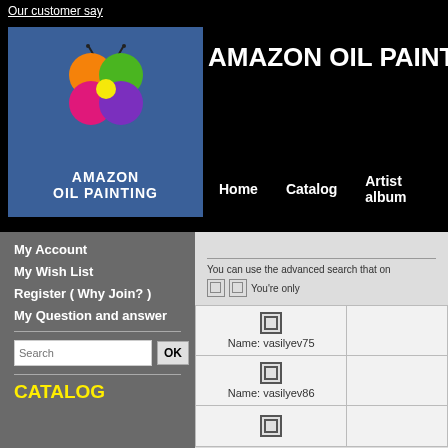Our customer say
[Figure (logo): Amazon Oil Painting logo: butterfly shape made of colored circles (orange, green, pink, purple) with a yellow center, on a blue background. Text below: AMAZON OIL PAINTING]
AMAZON OIL PAINTI
Home   Catalog   Artist album
My Account
My Wish List
Register ( Why Join? )
My Question and answer
Search
CATALOG
You can use the advanced search that on
You're only
| [checkbox] Name: vasilyev75 |  |
| [checkbox] Name: vasilyev86 |  |
| [checkbox] |  |